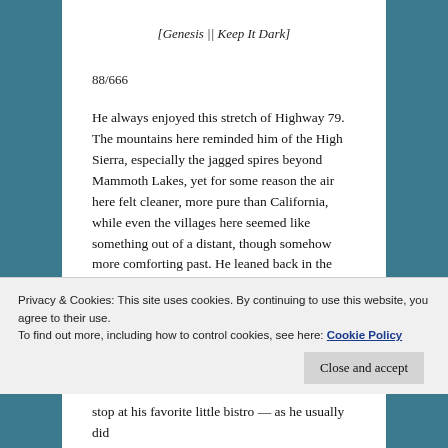[Genesis || Keep It Dark]
88/666
He always enjoyed this stretch of Highway 79. The mountains here reminded him of the High Sierra, especially the jagged spires beyond Mammoth Lakes, yet for some reason the air here felt cleaner, more pure than California, while even the villages here seemed like something out of a distant, though somehow more comforting past. He leaned back in the limousine's plush rear seat and rolled down the
Privacy & Cookies: This site uses cookies. By continuing to use this website, you agree to their use.
To find out more, including how to control cookies, see here: Cookie Policy
stop at his favorite little bistro — as he usually did